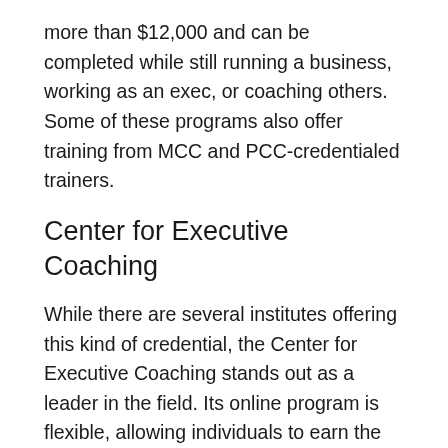more than $12,000 and can be completed while still running a business, working as an exec, or coaching others. Some of these programs also offer training from MCC and PCC-credentialed trainers.
Center for Executive Coaching
While there are several institutes offering this kind of credential, the Center for Executive Coaching stands out as a leader in the field. Its online program is flexible, allowing individuals to earn the certification from anywhere in the world. The Center for Executive Coaching offers the ICF certification, which enables individuals to become business coaches and managers. The institute offers a variety of programs, including executive coaching, executive leadership, and more, and also additional its all...